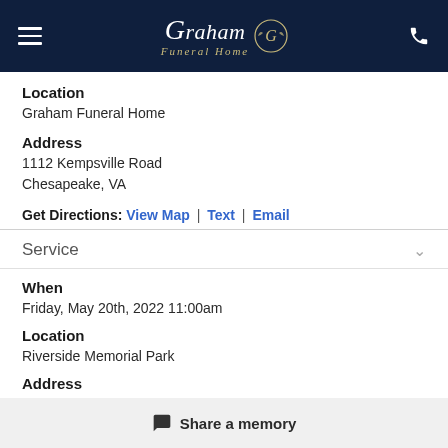Graham Funeral Home
Location
Graham Funeral Home
Address
1112 Kempsville Road
Chesapeake, VA
Get Directions: View Map | Text | Email
Service
When
Friday, May 20th, 2022 11:00am
Location
Riverside Memorial Park
Address
Share a memory